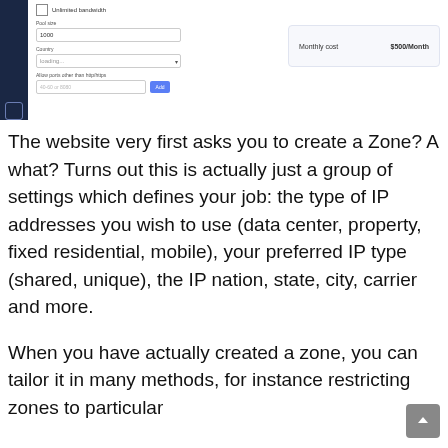[Figure (screenshot): Screenshot of a web UI form showing fields: Unlimited bandwidth checkbox, Pool size input (1000), Country dropdown (Loading...), Allow ports other than http/https input, Add button, and a cost panel showing Monthly cost $500/Month]
The website very first asks you to create a Zone? A what? Turns out this is actually just a group of settings which defines your job: the type of IP addresses you wish to use (data center, property, fixed residential, mobile), your preferred IP type (shared, unique), the IP nation, state, city, carrier and more.
When you have actually created a zone, you can tailor it in many methods, for instance restricting zones to particular